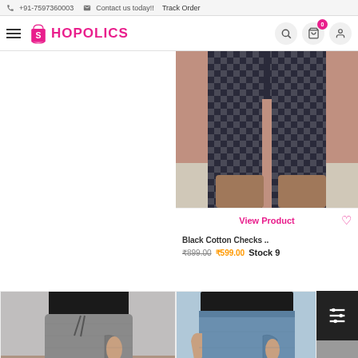📞 +91-7597360003   ✉ Contact us today!!   Track Order
[Figure (screenshot): Shopolics website header with logo, hamburger menu, search icon, cart (0), and user icon]
[Figure (photo): Photo of person wearing black cotton checks pants with sandals, partially cropped]
View Product
Black Cotton Checks ..
₹899.00  ₹599.00  Stock 9
[Figure (photo): Photo of person wearing grey drawstring pants, lower body visible]
[Figure (photo): Photo of person wearing blue/denim casual pants with elastic waist, lower body visible]